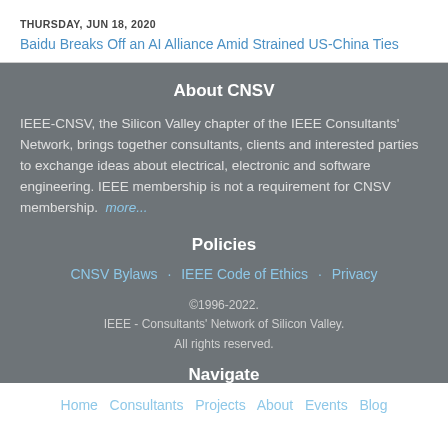THURSDAY, JUN 18, 2020
Baidu Breaks Off an AI Alliance Amid Strained US-China Ties
About CNSV
IEEE-CNSV, the Silicon Valley chapter of the IEEE Consultants' Network, brings together consultants, clients and interested parties to exchange ideas about electrical, electronic and software engineering. IEEE membership is not a requirement for CNSV membership. more...
Policies
CNSV Bylaws · IEEE Code of Ethics · Privacy
©1996-2022.
IEEE - Consultants' Network of Silicon Valley.
All rights reserved.
Navigate
Home  Consultants  Projects  About  Events  Blog